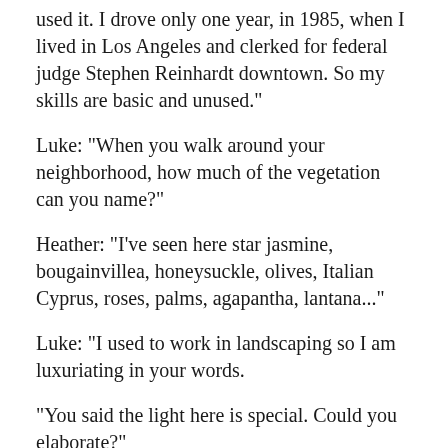used it. I drove only one year, in 1985, when I lived in Los Angeles and clerked for federal judge Stephen Reinhardt downtown. So my skills are basic and unused."
Luke: "When you walk around your neighborhood, how much of the vegetation can you name?"
Heather: "I've seen here star jasmine, bougainvillea, honeysuckle, olives, Italian Cyprus, roses, palms, agapantha, lantana..."
Luke: "I used to work in landscaping so I am luxuriating in your words.
"You said the light here is special. Could you elaborate?"
Heather: "It's brilliant and white. It's even more so in Orange County. My mother lives in Irvine. I wonder if it is because the light reflects off of the ocean and bounces off the open hills